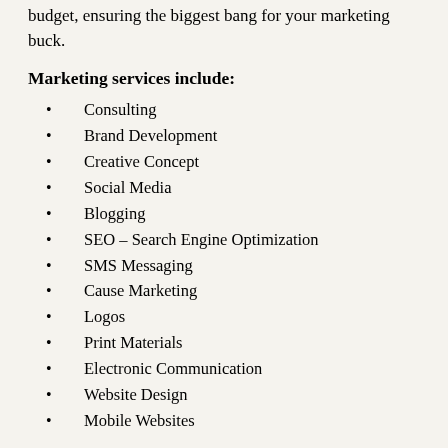budget, ensuring the biggest bang for your marketing buck.
Marketing services include:
Consulting
Brand Development
Creative Concept
Social Media
Blogging
SEO – Search Engine Optimization
SMS Messaging
Cause Marketing
Logos
Print Materials
Electronic Communication
Website Design
Mobile Websites